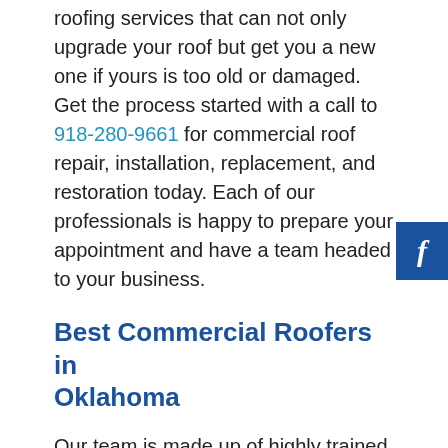roofing services that can not only upgrade your roof but get you a new one if yours is too old or damaged. Get the process started with a call to 918-280-9661 for commercial roof repair, installation, replacement, and restoration today. Each of our professionals is happy to prepare your appointment and have a team headed to your business.
Best Commercial Roofers in Oklahoma
Our team is made up of highly trained and experienced roofers that are ready to offer your business each of our services. With commercial roof repair, replacement, installation, restoration we can get you exactly what your business needs to keep the weather out. From Blue Springs Commercial Roofing, you can get several services for your commercial roof in Kiowa County, OK. Our business is known for providing maintenance and